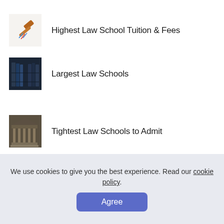Highest Law School Tuition & Fees
Largest Law Schools
Tightest Law Schools to Admit
We use cookies to give you the best experience. Read our cookie policy.
Agree